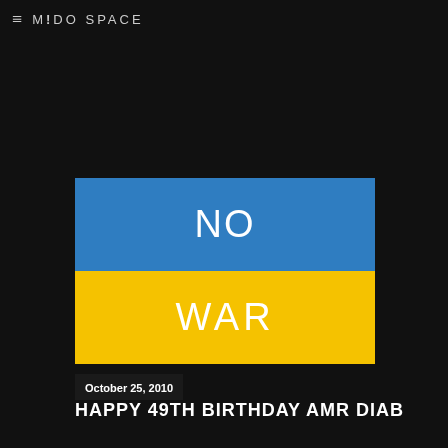M!DO SPACE
[Figure (illustration): Ukraine flag with 'NO WAR' text. Top half is blue with 'NO' in white, bottom half is yellow with 'WAR' in white.]
October 25, 2010
HAPPY 49TH BIRTHDAY AMR DIAB